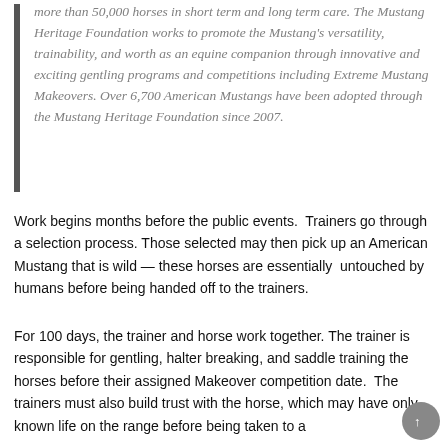more than 50,000 horses in short term and long term care. The Mustang Heritage Foundation works to promote the Mustang's versatility, trainability, and worth as an equine companion through innovative and exciting gentling programs and competitions including Extreme Mustang Makeovers. Over 6,700 American Mustangs have been adopted through the Mustang Heritage Foundation since 2007.
Work begins months before the public events.  Trainers go through a selection process. Those selected may then pick up an American Mustang that is wild — these horses are essentially  untouched by humans before being handed off to the trainers.
For 100 days, the trainer and horse work together. The trainer is responsible for gentling, halter breaking, and saddle training the horses before their assigned Makeover competition date.  The trainers must also build trust with the horse, which may have only known life on the range before being taken to a